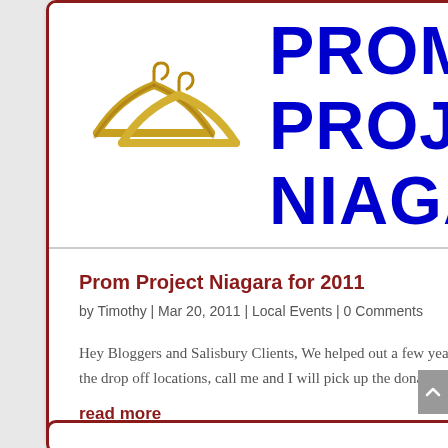[Figure (logo): Prom Project Niagara logo with golden coat hangers illustration and blue bold text reading PROM PROJECT NIAGARA]
Prom Project Niagara for 2011
by Timothy | Mar 20, 2011 | Local Events | 0 Comments
Hey Bloggers and Salisbury Clients, We helped out a few years ago with this program. Let's do it again. If you can't make it to any of the drop off locations, call me and I will pick up the donated clothes. T. Prom Project Niagara, created by Education Foundation...
read more